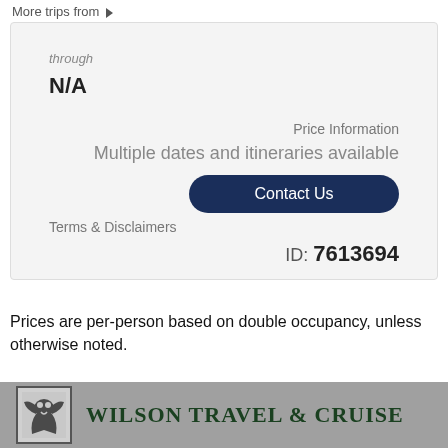More trips from ▶
through
N/A
Price Information
Multiple dates and itineraries available
Contact Us
Terms & Disclaimers
ID: 7613694
Prices are per-person based on double occupancy, unless otherwise noted.
[Figure (logo): Wilson Travel & Cruise logo with griffin emblem]